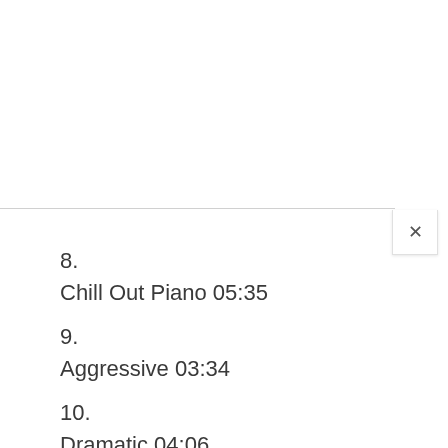8.
Chill Out Piano 05:35
9.
Aggressive 03:34
10.
Dramatic 04:06
11.